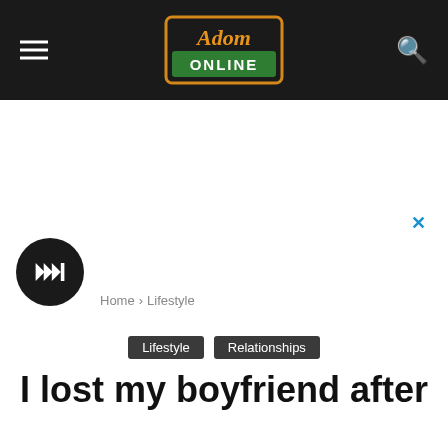Adom Online
[Figure (screenshot): Advertisement area with a close (X) button in blue at top right]
[Figure (other): Black circular play button with white play/forward icon]
Home > Lifestyle
Lifestyle   Relationships
I lost my boyfriend after